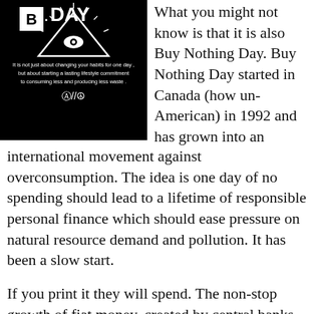[Figure (illustration): Black background image with 'BUY NOTHING DAY' text and an all-seeing eye pyramid logo, with text 'It is not just about changing your habits for one day, but about starting a lasting lifestyle commitment to consuming less and producing less waste.' and symbols including anarchy/peace signs.]
What you might not know is that it is also Buy Nothing Day. Buy Nothing Day started in Canada (how un-American) in 1992 and has grown into an international movement against overconsumption. The idea is one day of no spending should lead to a lifetime of responsible personal finance which should ease pressure on natural resource demand and pollution. It has been a slow start.
If you print it they will spend. The non-stop growth of fiat money, created by central banks at the click of a button (I know it involves more than that, but